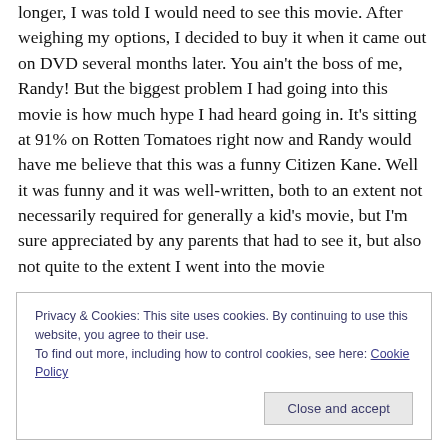longer, I was told I would need to see this movie. After weighing my options, I decided to buy it when it came out on DVD several months later. You ain't the boss of me, Randy! But the biggest problem I had going into this movie is how much hype I had heard going in. It's sitting at 91% on Rotten Tomatoes right now and Randy would have me believe that this was a funny Citizen Kane. Well it was funny and it was well-written, both to an extent not necessarily required for generally a kid's movie, but I'm sure appreciated by any parents that had to see it, but also not quite to the extent I went into the movie
Privacy & Cookies: This site uses cookies. By continuing to use this website, you agree to their use.
To find out more, including how to control cookies, see here: Cookie Policy